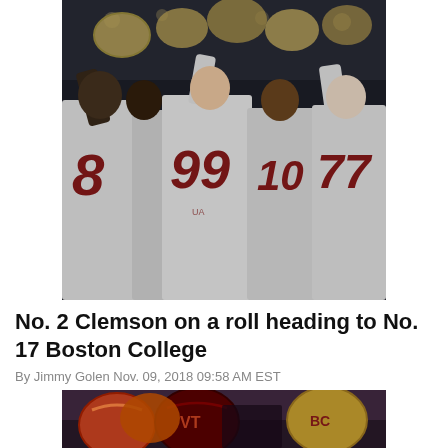[Figure (photo): Boston College football players in white jerseys with maroon numbers (8, 99, 77) celebrating, holding helmets up in the air. Taken in a dark stadium setting.]
No. 2 Clemson on a roll heading to No. 17 Boston College
By Jimmy Golen Nov. 09, 2018 09:58 AM EST
[Figure (photo): Football players with helmets visible — maroon and orange helmets (Virginia Tech) alongside gold helmet (Boston College) — partially cropped at bottom of page.]